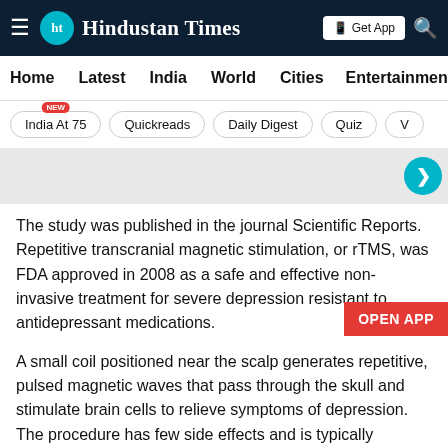Hindustan Times
Home | Latest | India | World | Cities | Entertainment
India At 75 | Quickreads | Daily Digest | Quiz
The study was published in the journal Scientific Reports. Repetitive transcranial magnetic stimulation, or rTMS, was FDA approved in 2008 as a safe and effective non-invasive treatment for severe depression resistant to antidepressant medications.
A small coil positioned near the scalp generates repetitive, pulsed magnetic waves that pass through the skull and stimulate brain cells to relieve symptoms of depression. The procedure has few side effects and is typically prescribed as an alternative or supplemental therapy when multiple antidepressant medications and/or psychotherapy do not